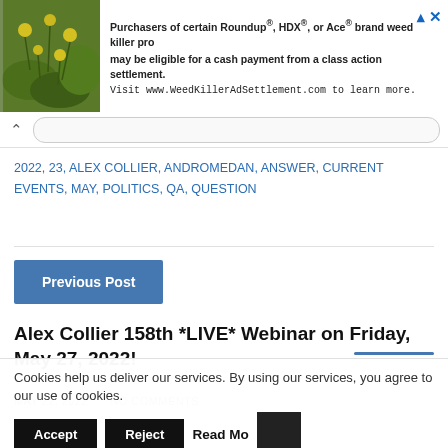[Figure (screenshot): Advertisement banner with an image of yellow flowers and green foliage on the left, and text about Roundup, HDX, or Ace brand weed killer class action settlement on the right.]
Purchasers of certain Roundup®, HDX®, or Ace® brand weed killer products may be eligible for a cash payment from a class action settlement. Visit www.WeedKillerAdSettlement.com to learn more.
2022, 23, ALEX COLLIER, ANDROMEDAN, ANSWER, CURRENT EVENTS, MAY, POLITICS, QA, QUESTION
Previous Post
Alex Collier 158th *LIVE* Webinar on Friday, May 27, 2022!
MAY 22, 2022 · NO COMMENTS
Cookies help us deliver our services. By using our services, you agree to our use of cookies. Accept Reject Read More